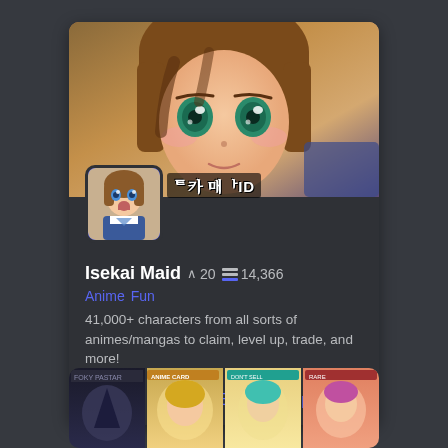[Figure (screenshot): Banner image of anime character close-up face with brown hair and green eyes on the bot card]
[Figure (illustration): Bot avatar image showing anime maid character]
Isekai Maid
20 upvotes  14,366 servers
Anime  Fun
41,000+ characters from all sorts of animes/mangas to claim, level up, trade, and more!
View   Add Bot   Upvote
[Figure (photo): Bottom strip showing anime card game images]